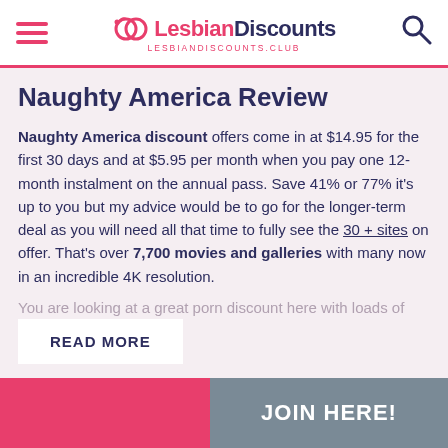LesbianDiscounts LESBIANDISCOUNTS.CLUB
Naughty America Review
Naughty America discount offers come in at $14.95 for the first 30 days and at $5.95 per month when you pay one 12-month instalment on the annual pass. Save 41% or 77% it's up to you but my advice would be to go for the longer-term deal as you will need all that time to fully see the 30 + sites on offer. That's over 7,700 movies and galleries with many now in an incredible 4K resolution.
You are looking at a great porn discount here with loads of
READ MORE
JOIN HERE!